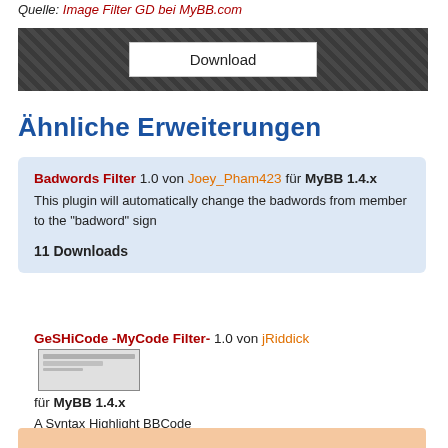Quelle: Image Filter GD bei MyBB.com
[Figure (screenshot): Dark patterned download bar with a white Download button in the center]
Ähnliche Erweiterungen
Badwords Filter 1.0 von Joey_Pham423 für MyBB 1.4.x
This plugin will automatically change the badwords from member to the "badword" sign

11 Downloads
GeSHiCode -MyCode Filter- 1.0 von jRiddick für MyBB 1.4.x
A Syntax Highlight BBCode

125 Downloads